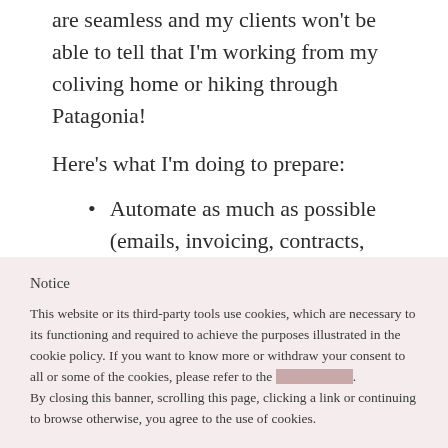are seamless and my clients won't be able to tell that I'm working from my coliving home or hiking through Patagonia!
Here's what I'm doing to prepare:
Automate as much as possible (emails, invoicing, contracts, etc. – I'm
Notice
This website or its third-party tools use cookies, which are necessary to its functioning and required to achieve the purposes illustrated in the cookie policy. If you want to know more or withdraw your consent to all or some of the cookies, please refer to the [cookie policy]. By closing this banner, scrolling this page, clicking a link or continuing to browse otherwise, you agree to the use of cookies.